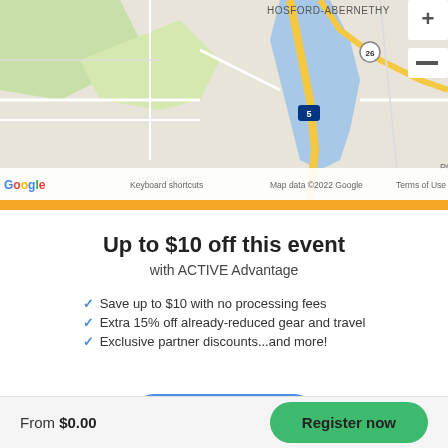[Figure (map): Google Maps screenshot showing Portland area including Hosford-Abernethy neighborhood, highways 5 and 26, zoom controls, and map footer with keyboard shortcuts and copyright info]
Up to $10 off this event
with ACTIVE Advantage
Save up to $10 with no processing fees
Extra 15% off already-reduced gear and travel
Exclusive partner discounts...and more!
Save now
Learn more
From $0.00
Register now